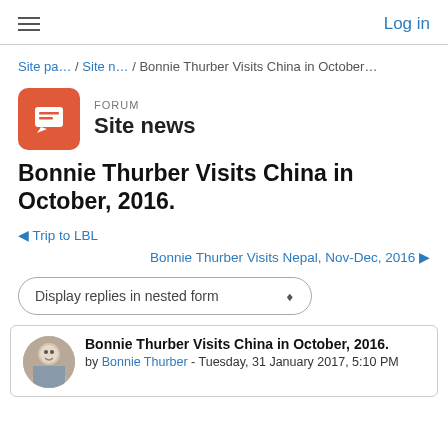Log in
Site pa… / Site n… / Bonnie Thurber Visits China in October…
FORUM
Site news
Bonnie Thurber Visits China in October, 2016.
◀ Trip to LBL
Bonnie Thurber Visits Nepal, Nov-Dec, 2016 ▶
Display replies in nested form
Bonnie Thurber Visits China in October, 2016.
by Bonnie Thurber - Tuesday, 31 January 2017, 5:10 PM